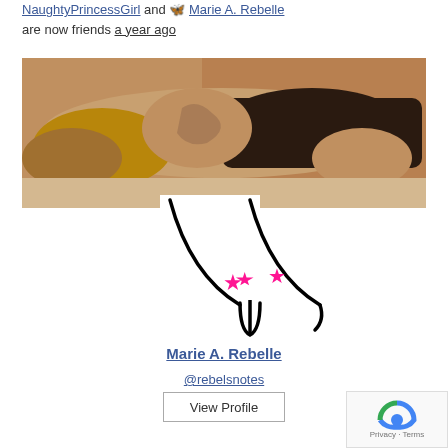NaughtyPrincessGirl and Marie A. Rebelle are now friends a year ago
[Figure (photo): A person lying face down showing a tattooed back, wearing dark shorts]
[Figure (logo): Black line drawing logo with two arcs and pink stars, resembling stylized silhouette]
Marie A. Rebelle
@rebelsnotes
View Profile